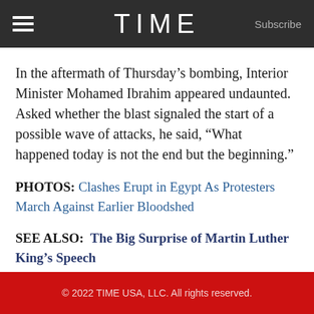TIME  Subscribe
In the aftermath of Thursday’s bombing, Interior Minister Mohamed Ibrahim appeared undaunted. Asked whether the blast signaled the start of a possible wave of attacks, he said, “What happened today is not the end but the beginning.”
PHOTOS: Clashes Erupt in Egypt As Protesters March Against Earlier Bloodshed
SEE ALSO: The Big Surprise of Martin Luther King’s Speech
© 2022 TIME USA, LLC. All rights reserved.